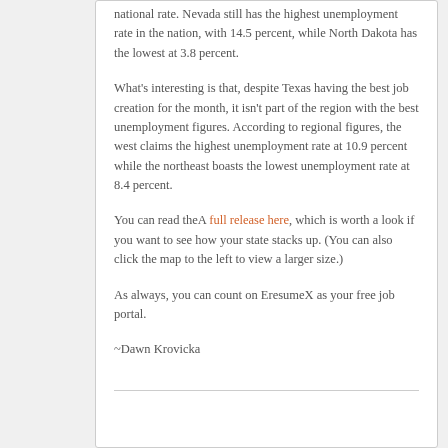national rate. Nevada still has the highest unemployment rate in the nation, with 14.5 percent, while North Dakota has the lowest at 3.8 percent.
What's interesting is that, despite Texas having the best job creation for the month, it isn't part of the region with the best unemployment figures. According to regional figures, the west claims the highest unemployment rate at 10.9 percent while the northeast boasts the lowest unemployment rate at 8.4 percent.
You can read theA full release here, which is worth a look if you want to see how your state stacks up. (You can also click the map to the left to view a larger size.)
As always, you can count on EresumeX as your free job portal.
~Dawn Krovicka